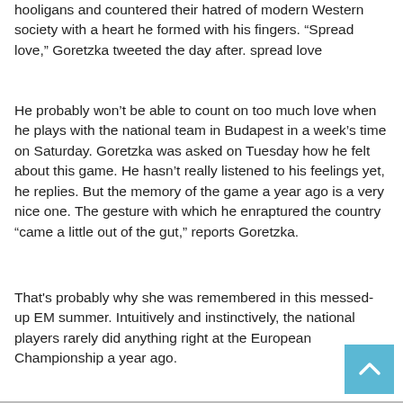hooligans and countered their hatred of modern Western society with a heart he formed with his fingers. “Spread love,” Goretzka tweeted the day after. spread love
He probably won’t be able to count on too much love when he plays with the national team in Budapest in a week’s time on Saturday. Goretzka was asked on Tuesday how he felt about this game. He hasn’t really listened to his feelings yet, he replies. But the memory of the game a year ago is a very nice one. The gesture with which he enraptured the country “came a little out of the gut,” reports Goretzka.
That's probably why she was remembered in this messed-up EM summer. Intuitively and instinctively, the national players rarely did anything right at the European Championship a year ago.